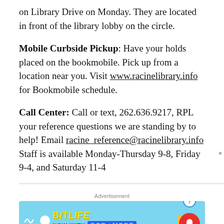on Library Drive on Monday. They are located in front of the library lobby on the circle.
Mobile Curbside Pickup: Have your holds placed on the bookmobile. Pick up from a location near you. Visit www.racinelibrary.info for Bookmobile schedule.
Call Center: Call or text, 262.636.9217, RPL your reference questions we are standing by to help! Email racine_reference@racinelibrary.info Staff is available Monday-Thursday 9-8, Friday 9-4, and Saturday 11-4
[Figure (screenshot): Advertisement banner for BitLife game featuring 'NOW WITH GOD MODE' text on a light blue background with a pointing hand graphic.]